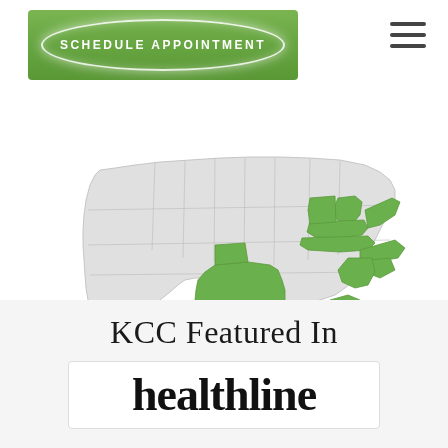[Figure (other): Green 'Schedule Appointment' button with oval border and white text, with hamburger menu icon to the right]
[Figure (map): US map with highlighted states in green: Texas, Florida, Tennessee, Kentucky, Indiana, Ohio, Virginia, North Carolina, South Carolina, Georgia, and Alaska inset. Other states shown in light gray.]
KCC Featured In
[Figure (logo): Healthline logo in bold black serif font inside a white bordered box]